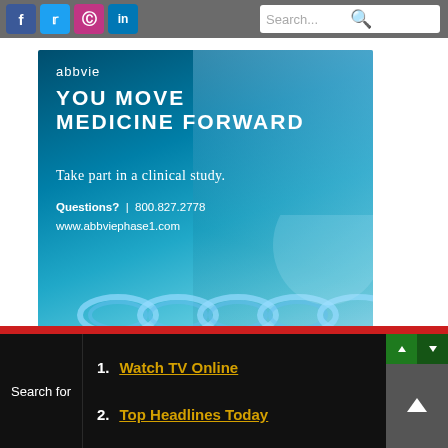[Figure (screenshot): Website header with social media icons (Facebook, Twitter, Instagram, LinkedIn) on the left and a search bar on the right, on a gray background]
[Figure (illustration): AbbVie pharmaceutical advertisement banner with teal/blue background showing spiral coil imagery. Text: abbvie logo, YOU MOVE MEDICINE FORWARD, Take part in a clinical study., Questions? | 800.827.2778, www.abbviephase1.com]
1. Watch TV Online
2. Top Headlines Today